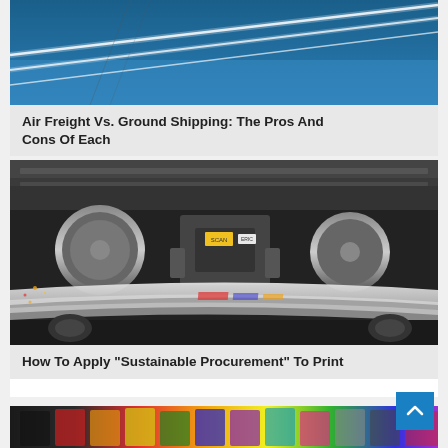[Figure (photo): Airplane contrails against a blue sky]
Air Freight Vs. Ground Shipping: The Pros And Cons Of Each
[Figure (photo): Industrial printing press machinery with paper rolling through]
How To Apply "Sustainable Procurement" To Print
[Figure (photo): Colorful ink or paint supplies, partially visible at bottom]